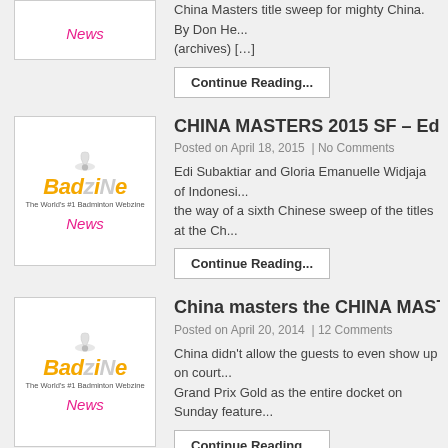[Figure (logo): Badzine logo with News label, partial top entry]
China Masters title sweep for mighty China. By Don He... (archives) [...]
Continue Reading...
[Figure (logo): Badzine logo with News label]
CHINA MASTERS 2015 SF – Edi and Gl...
Posted on April 18, 2015  | No Comments
Edi Subaktiar and Gloria Emanuelle Widjaja of Indonesi... the way of a sixth Chinese sweep of the titles at the Ch...
Continue Reading...
[Figure (logo): Badzine logo with News label]
China masters the CHINA MASTERS 20...
Posted on April 20, 2014  | 12 Comments
China didn't allow the guests to even show up on court... Grand Prix Gold as the entire docket on Sunday feature...
Continue Reading...
[Figure (logo): Badzine logo partial]
CHINA MASTERS 2013 Finals – Ko/Lee...